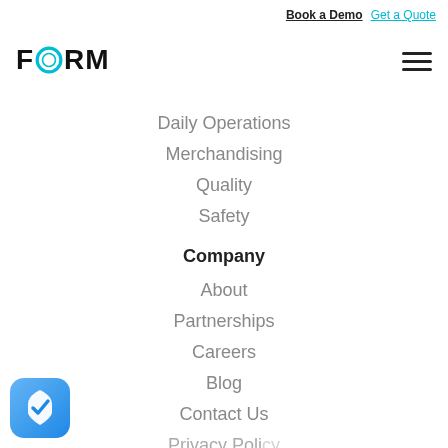Book a Demo  Get a Quote
FORM
Daily Operations
Merchandising
Quality
Safety
Company
About
Partnerships
Careers
Blog
Contact Us
Privacy Policy
[Figure (logo): Blue shield with checkmark icon, rounded square shape]